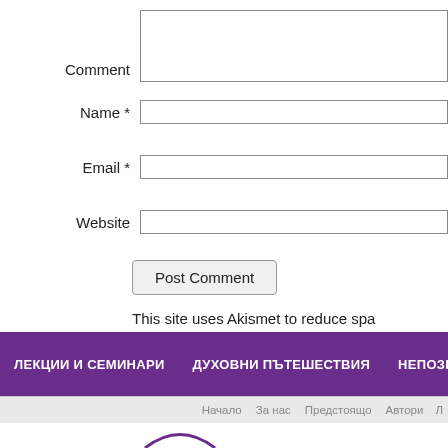Comment
Name *
Email *
Website
Post Comment
This site uses Akismet to reduce spa
ЛЕКЦИИ И СЕМИНАРИ  ДУХОВНИ ПЪТЕШЕСТВИЯ  НЕПОЗНА
Начало  За нас  Предстоящо  Автори  Л